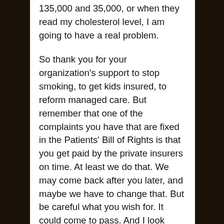think if they can tell the difference between 135,000 and 35,000, or when they read my cholesterol level, I am going to have a real problem.
So thank you for your organization's support to stop smoking, to get kids insured, to reform managed care. But remember that one of the complaints you have that are fixed in the Patients' Bill of Rights is that you get paid by the private insurers on time. At least we do that. We may come back after you later, and maybe we have to change that. But be careful what you wish for. It could come to pass. And I look forward to working with you.
I take it the 135,000 pages is a kind of urban legend that's been around for a while.]